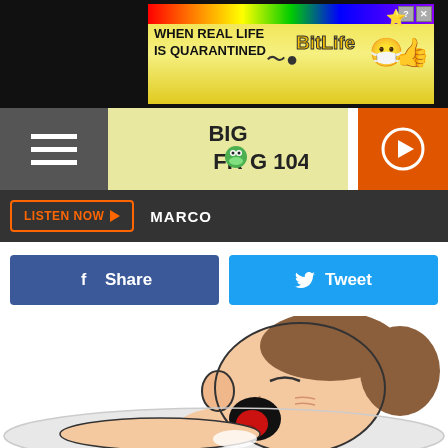[Figure (screenshot): BitLife advertisement banner with rainbow strip, yellow gradient background, text 'WHEN REAL LIFE IS QUARANTINED' and BitLife logo with emoji graphics]
[Figure (logo): Big Frog 104 radio station logo with cartoon frog]
LISTEN NOW ▶  MARCO
f  Share
🐦  Tweet
[Figure (illustration): Cartoon illustration of a sleeping person snoring with open mouth, lying on a pillow, side view]